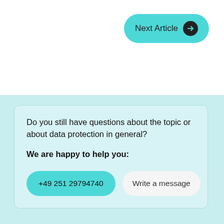[Figure (other): Next Article button with teal background and right-arrow circle icon]
Do you still have questions about the topic or about data protection in general?
We are happy to help you:
+49 251 29794740
Write a message